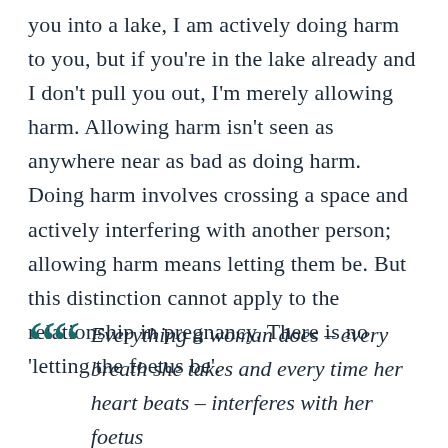you into a lake, I am actively doing harm to you, but if you're in the lake already and I don't pull you out, I'm merely allowing harm. Allowing harm isn't seen as anywhere near as bad as doing harm. Doing harm involves crossing a space and actively interfering with another person; allowing harm means letting them be. But this distinction cannot apply to the relationship in pregnancy. There is no 'letting the foetus be'.
Everything a woman does – every breath she takes and every time her heart beats – interferes with her foetus